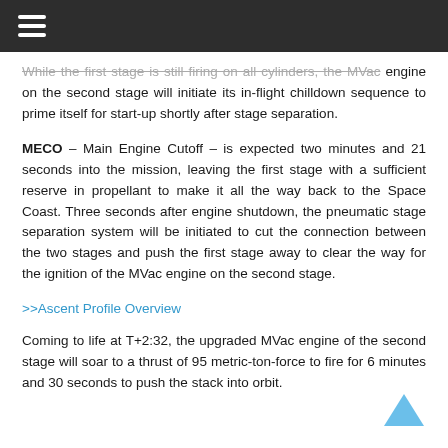≡
While the first stage is still firing on all cylinders, the MVac engine on the second stage will initiate its in-flight chilldown sequence to prime itself for start-up shortly after stage separation.
MECO – Main Engine Cutoff – is expected two minutes and 21 seconds into the mission, leaving the first stage with a sufficient reserve in propellant to make it all the way back to the Space Coast. Three seconds after engine shutdown, the pneumatic stage separation system will be initiated to cut the connection between the two stages and push the first stage away to clear the way for the ignition of the MVac engine on the second stage.
>>Ascent Profile Overview
Coming to life at T+2:32, the upgraded MVac engine of the second stage will soar to a thrust of 95 metric-ton-force to fire for 6 minutes and 30 seconds to push the stack into orbit. This page has been truncated...